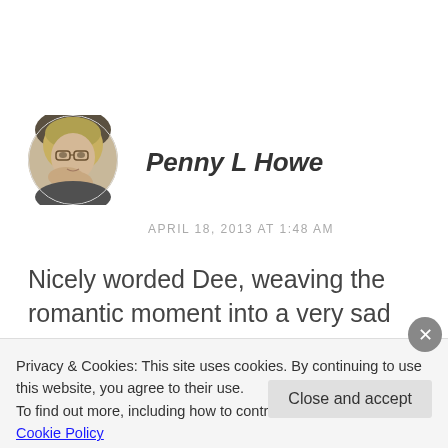[Figure (photo): Circular avatar photo of a blonde woman with glasses resting her chin on her hand]
Penny L Howe
APRIL 18, 2013 AT 1:48 AM
Nicely worded Dee, weaving the romantic moment into a very sad
Privacy & Cookies: This site uses cookies. By continuing to use this website, you agree to their use.
To find out more, including how to control cookies, see here: Cookie Policy
Close and accept